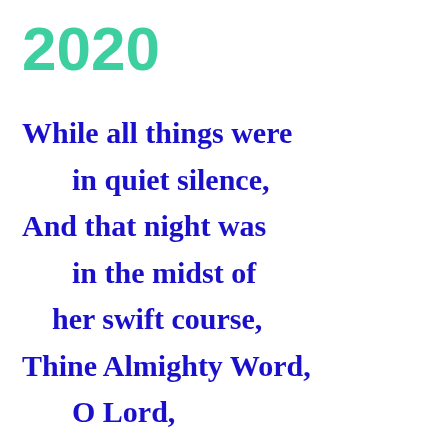2020
While all things were
    in quiet silence,
And that night was
    in the midst of
    her swift course,
Thine Almighty Word,
    O Lord,